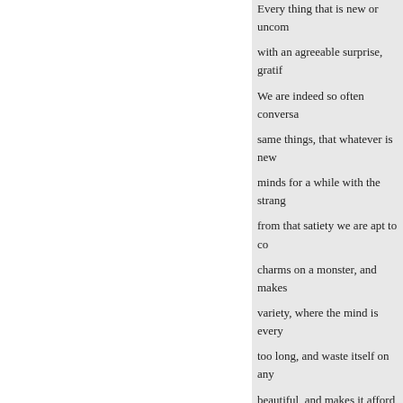Every thing that is new or uncom with an agreeable surprise, gratif We are indeed so often conversa same things, that whatever is new minds for a while with the strang from that satiety we are apt to co charms on a monster, and makes variety, where the mind is every too long, and waste itself on any beautiful, and makes it afford the season of the year pleasant to loc all new and fresh, with their first
For this reason there is nothing the scene is perpetually shifting, are quickly tired with looking up same place, and posture, but find ever in motion, and sliding away
of the beholder. But there is noth immediately diffuses a secret sat to any
« Previous